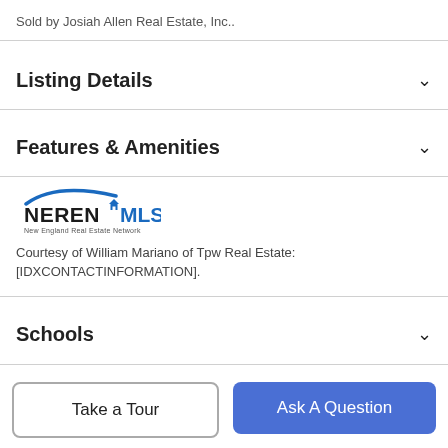Sold by Josiah Allen Real Estate, Inc..
Listing Details
Features & Amenities
[Figure (logo): NEREN MLS logo - New England Real Estate Network]
Courtesy of William Mariano of Tpw Real Estate: [IDXCONTACTINFORMATION].
Schools
Payment Calculator
Take a Tour
Ask A Question